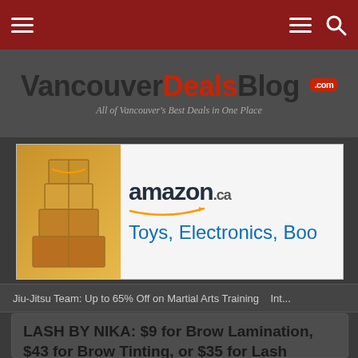Navigation bar with hamburger menu and search icon
VancouverDealsBlog .com — All of Vancouver's Best Deals in One Place
[Figure (advertisement): Amazon.ca banner ad showing stacked boxes image on left and text 'amazon ca' with 'Toys, Electronics, Boo...' on right]
Jiu-Jitsu Team: Up to 65% Off on Martial Arts Training   Int...
LASH BY NIKA: $9 for Brow Lamination, $43 for Brow Tinting, or $35 for Lash Tinting (Up to 55% Off)